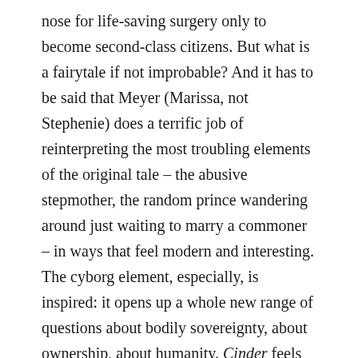nose for life-saving surgery only to become second-class citizens. But what is a fairytale if not improbable? And it has to be said that Meyer (Marissa, not Stephenie) does a terrific job of reinterpreting the most troubling elements of the original tale – the abusive stepmother, the random prince wandering around just waiting to marry a commoner – in ways that feel modern and interesting. The cyborg element, especially, is inspired: it opens up a whole new range of questions about bodily sovereignty, about ownership, about humanity. Cinder feels like a book that has something new to bring to an old tale, which is, after all, the point of retellings.
The worldbuilding here, too, is solid and convincing: I especially loved the political relations of New Beijing